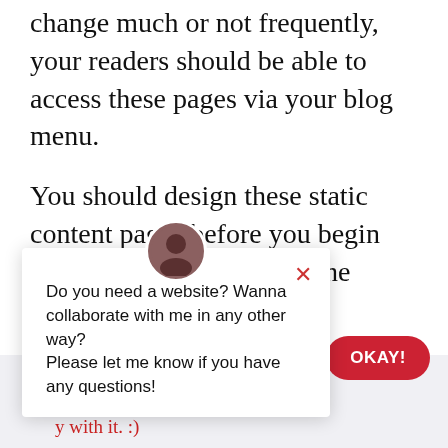change much or not frequently, your readers should be able to access these pages via your blog menu.
You should design these static content pages before you begin your blog. Try to include the following static pages:
e key points of nt field, as well as
[Figure (screenshot): Popup chat widget with avatar showing 'Do you need a website? Wanna collaborate with me in any other way? Please let me know if you have any questions!']
experience. If you continue to use ite, we'll assume that you're y with it. :)
[Figure (other): OKAY! button in red]
[Figure (other): Scroll to top dark button with chevron up arrow]
[Figure (other): Red circular chat button]